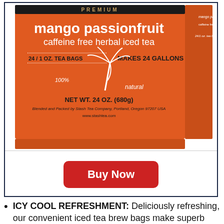[Figure (photo): Orange box of Stash Premium Mango Passionfruit caffeine free herbal iced tea, 24/1 oz tea bags, makes 24 gallons, net wt. 24 oz. (680g), 100% natural]
Buy Now
ICY COOL REFRESHMENT: Deliciously refreshing, our convenient iced tea brew bags make superb fresh brewed iced tea that tastes